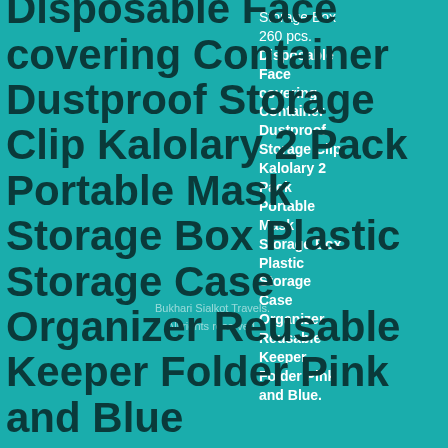Storage Box 260 pcs. Disposable Face covering Container Dustproof Storage Clip Kalolary 2 Pack Portable Mask Storage Box Plastic Storage Case Organizer Reusable Keeper Folder Pink and Blue.
Bukhari Sialkot Travels. All rights reserved.
Disposable Face covering Container Dustproof Storage Clip Kalolary 2 Pack Portable Mask Storage Box Plastic Storage Case Organizer Reusable Keeper Folder Pink and Blue